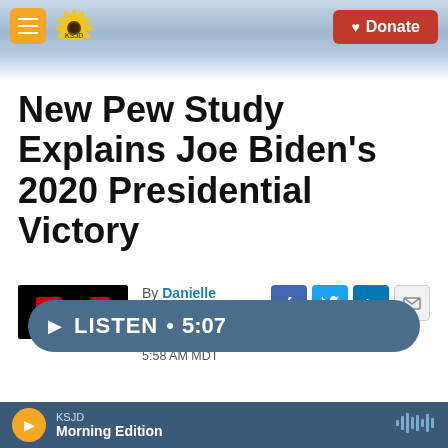[Figure (screenshot): KSJD radio station website header with orange hamburger menu, KSJD sunflower logo, mountain background, and red Donate button]
New Pew Study Explains Joe Biden's 2020 Presidential Victory
By Danielle Kurtzleben
Published July 4, 2021 at 5:58 AM MDT
LISTEN • 5:07
KSJD Morning Edition